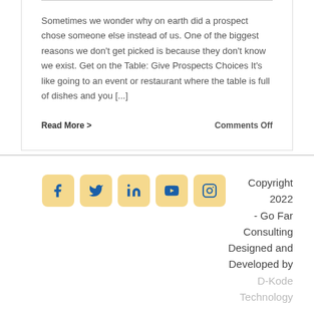Sometimes we wonder why on earth did a prospect chose someone else instead of us. One of the biggest reasons we don't get picked is because they don't know we exist. Get on the Table: Give Prospects Choices It's like going to an event or restaurant where the table is full of dishes and you [...]
Read More >
Comments Off
[Figure (logo): Social media icons: Facebook, Twitter, LinkedIn, YouTube, Instagram — each in a rounded yellow/tan square]
Copyright 2022 - Go Far Consulting Designed and Developed by D-Kode Technology